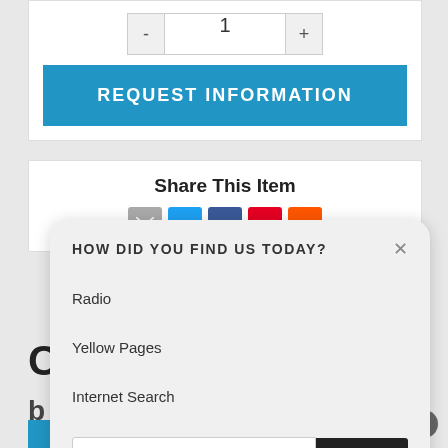- 1 +
REQUEST INFORMATION
Share This Item
[Figure (screenshot): Row of social sharing icons: email (grey), Twitter (blue), Facebook (dark blue), Pinterest (red), Reddit (orange-red)]
HOW DID YOU FIND US TODAY?
Radio
Yellow Pages
Internet Search
Other (please specify)
SUBMIT